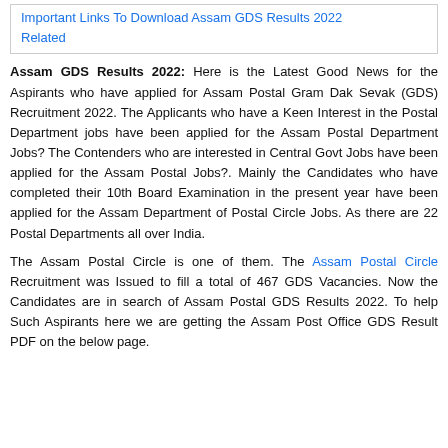Important Links To Download Assam GDS Results 2022
Related
Assam GDS Results 2022: Here is the Latest Good News for the Aspirants who have applied for Assam Postal Gram Dak Sevak (GDS) Recruitment 2022. The Applicants who have a Keen Interest in the Postal Department jobs have been applied for the Assam Postal Department Jobs? The Contenders who are interested in Central Govt Jobs have been applied for the Assam Postal Jobs?. Mainly the Candidates who have completed their 10th Board Examination in the present year have been applied for the Assam Department of Postal Circle Jobs. As there are 22 Postal Departments all over India.
The Assam Postal Circle is one of them. The Assam Postal Circle Recruitment was Issued to fill a total of 467 GDS Vacancies. Now the Candidates are in search of Assam Postal GDS Results 2022. To help Such Aspirants here we are getting the Assam Post Office GDS Result PDF on the below page.